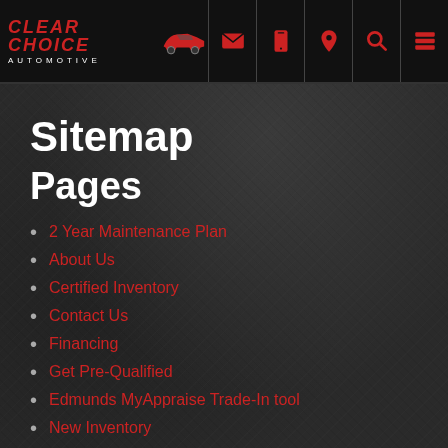Clear Choice Automotive — navigation header with logo and icons
Sitemap
Pages
2 Year Maintenance Plan
About Us
Certified Inventory
Contact Us
Financing
Get Pre-Qualified
Edmunds MyAppraise Trade-In tool
New Inventory
Pre-Owned Inventory